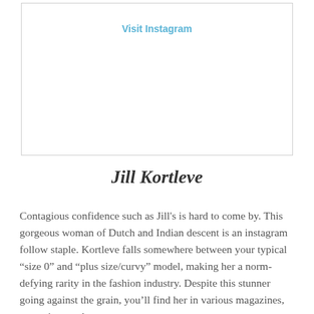[Figure (other): Instagram embed placeholder box with 'Visit Instagram' link text inside a bordered rectangle]
Jill Kortleve
Contagious confidence such as Jill's is hard to come by. This gorgeous woman of Dutch and Indian descent is an instagram follow staple. Kortleve falls somewhere between your typical “size 0” and “plus size/curvy” model, making her a norm-defying rarity in the fashion industry. Despite this stunner going against the grain, you’ll find her in various magazines, campaigns and even